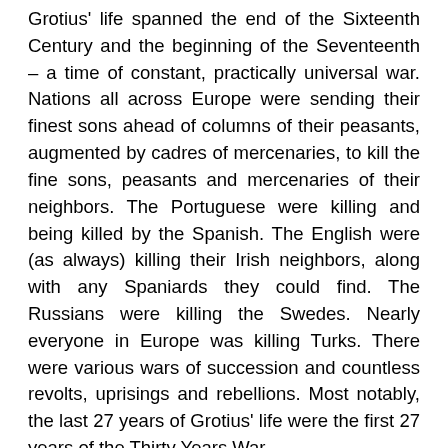Grotius' life spanned the end of the Sixteenth Century and the beginning of the Seventeenth – a time of constant, practically universal war. Nations all across Europe were sending their finest sons ahead of columns of their peasants, augmented by cadres of mercenaries, to kill the fine sons, peasants and mercenaries of their neighbors. The Portuguese were killing and being killed by the Spanish. The English were (as always) killing their Irish neighbors, along with any Spaniards they could find. The Russians were killing the Swedes. Nearly everyone in Europe was killing Turks. There were various wars of succession and countless revolts, uprisings and rebellions. Most notably, the last 27 years of Grotius' life were the first 27 years of the Thirty Years War.
Essentially beginning as a religious war that pitted most of the Roman Catholic nations of Europe against most of the Protestant ones, then devolving into a continental melee where more or less everyone was seeking to seize power and territory from more or less everyone else, the Thirty Years War is unparalleled in history for its savagery. The war killed 8 million people at a time when the population of